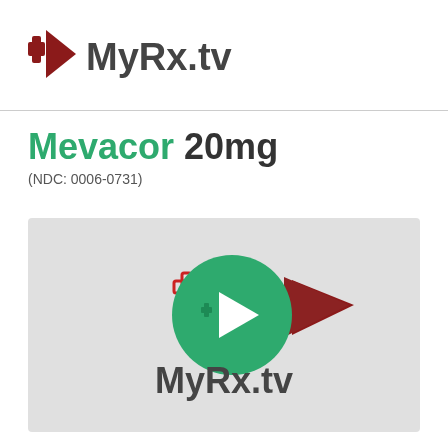[Figure (logo): MyRx.tv logo with dark red cross and play arrow icon on left, bold dark gray text MyRx.tv on right]
Mevacor 20mg
(NDC: 0006-0731)
[Figure (logo): MyRx.tv watermark logo centered on gray video thumbnail background, featuring green circle play button with dark red cross and arrow, text MyRx.tv below in dark gray]